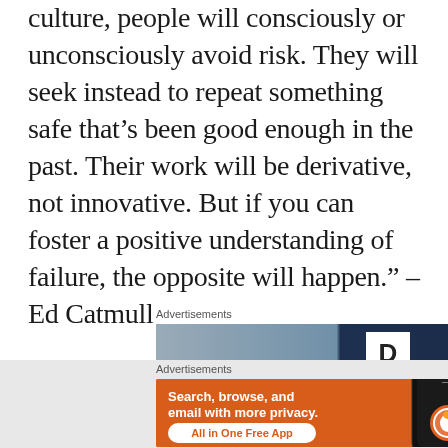culture, people will consciously or unconsciously avoid risk. They will seek instead to repeat something safe that's been good enough in the past. Their work will be derivative, not innovative. But if you can foster a positive understanding of failure, the opposite will happen." – Ed Catmull
Advertisements
[Figure (other): Advertisement banner with dark blue and grey background showing a white box with letter D]
Advertisements
[Figure (other): DuckDuckGo advertisement with orange background. Text: Search, browse, and email with more privacy. All in One Free App. Shows phone with DuckDuckGo logo.]